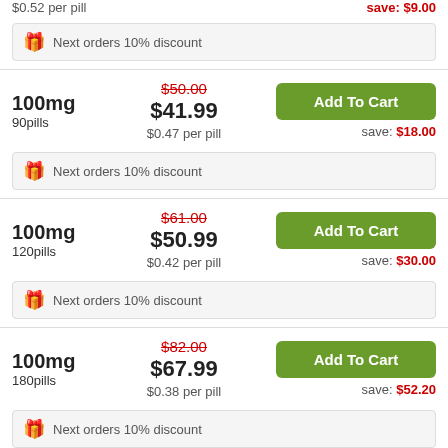$0.52 per pill
save: $9.00
Next orders 10% discount
100mg 90pills
$50.00 $41.99 $0.47 per pill
Add To Cart
save: $18.00
Next orders 10% discount
100mg 120pills
$61.00 $50.99 $0.42 per pill
Add To Cart
save: $30.00
Next orders 10% discount
100mg 180pills
$82.00 $67.99 $0.38 per pill
Add To Cart
save: $52.20
Next orders 10% discount